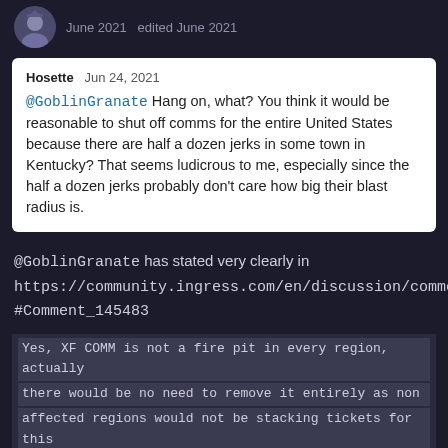June 2021   edited June 2021
Hosette  Jun 24, 2021
@GoblinGranate Hang on, what? You think it would be reasonable to shut off comms for the entire United States because there are half a dozen jerks in some town in Kentucky? That seems ludicrous to me, especially since the half a dozen jerks probably don't care how big their blast radius is.
@GoblinGranate has stated very clearly in https://community.ingress.com/en/discussion/comment/145483/#Comment_145483
Yes, XF COMM is not a fire pit in every region, actually there would be no need to remove it entirely as non affected regions would not be stacking tickets for this reason, therefore I find very appropiate to disable it through some metric that relates tickets to regions, both short and long term. @Atunatunak added some good